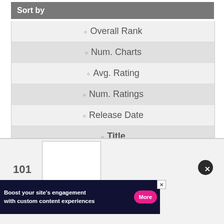Sort by
Overall Rank
Num. Charts
Avg. Rating
Num. Ratings
Release Date
Title
Artist
101
[Figure (screenshot): White album art placeholder box]
[Figure (screenshot): Close button (dark circle with X)]
[Figure (screenshot): Advertisement banner: Boost your site's engagement with custom content experiences. More button.]